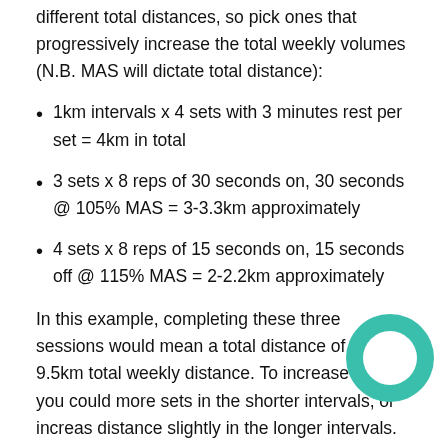different total distances, so pick ones that progressively increase the total weekly volumes (N.B. MAS will dictate total distance):
1km intervals x 4 sets with 3 minutes rest per set = 4km in total
3 sets x 8 reps of 30 seconds on, 30 seconds @ 105% MAS = 3-3.3km approximately
4 sets x 8 reps of 15 seconds on, 15 seconds off @ 115% MAS = 2-2.2km approximately
In this example, completing these three sessions would mean a total distance of 9-9.5km total weekly distance. To increase this, you could more sets in the shorter intervals, or increas distance slightly in the longer intervals. The total